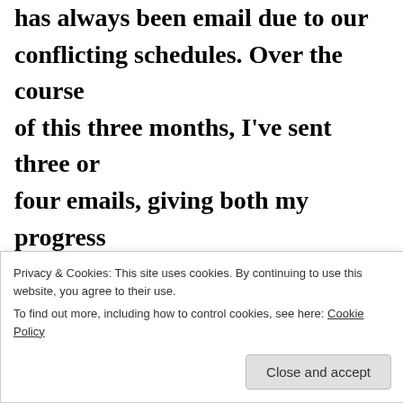has always been email due to our conflicting schedules. Over the course of this three months, I've sent three or four emails, giving both my progress reports and asking questions so I would know how to proceed.  Silence.
Privacy & Cookies: This site uses cookies. By continuing to use this website, you agree to their use. To find out more, including how to control cookies, see here: Cookie Policy